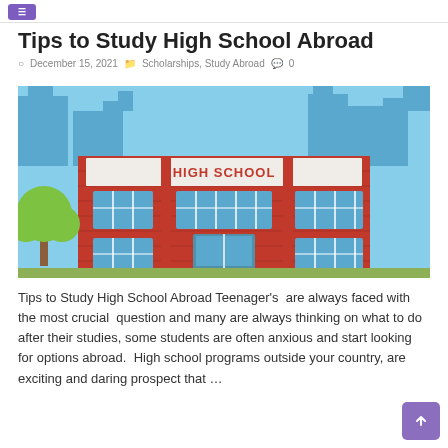Tips to Study High School Abroad
December 15, 2021  Scholarships, Study Abroad  0
[Figure (illustration): Cartoon illustration of a red brick high school building with blue windows, green trees, and a blue city skyline background. A sign on the building reads HIGH SCHOOL.]
Tips to Study High School Abroad Teenager's  are always faced with the most crucial  question and many are always thinking on what to do after their studies, some students are often anxious and start looking for options abroad.  High school programs outside your country, are exciting and daring prospect that …